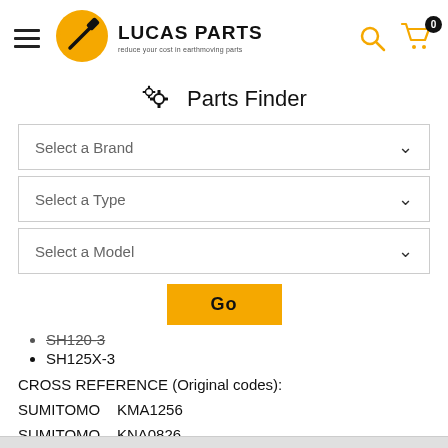[Figure (logo): Lucas Parts logo with yellow circle, hammer icon, brand name and tagline 'reduce your cost in earthmoving parts']
Parts Finder
Select a Brand
Select a Type
Select a Model
Go
SH120-3
SH125X-3
CROSS REFERENCE (Original codes):
SUMITOMO    KMA1256
SUMITOMO    KNA0826
VPI    VKMA1256V